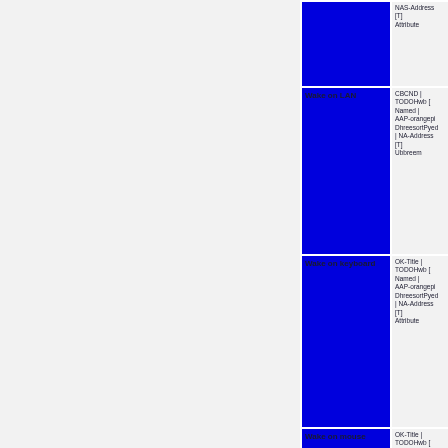| Feature | Details |
| --- | --- |
| (blue cell - partial row) | NAS-Address [T] Attribute |
| Wake on LAN | CBCND | TODOHwb [E-Named | AAP-Orangepi DhreesortPyed | NA-Address [T] Ubbreem |
| Wake on keyboard | OK-Title | TODOHwb [E-Named | AAP-Orangepi DhreesortPyed | NA-Address [T] Attribute |
| Wake on mouse | OK-Title | TODOHwb [E-Named | AAP-orangepi |